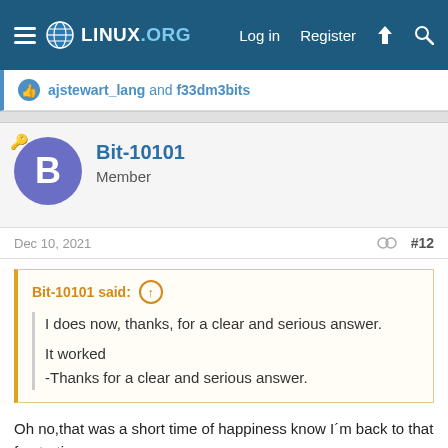LINUX.ORG — Log in  Register
ajstewart_lang and f33dm3bits
Bit-10101
Member
Dec 10, 2021  #12
Bit-10101 said: ↑
I does now, thanks, for a clear and serious answer.
It worked
-Thanks for a clear and serious answer.
Oh no,that was a short time of happiness know I´m back to that frustrating message:
myAccount@clientMachine:/test$ git status
On branch master
nothing to commit, working tree clean